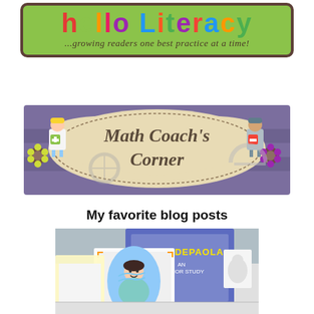[Figure (logo): Hello Literacy blog banner with colorful lettering on green background and tagline '...growing readers one best practice at a time!']
[Figure (logo): Math Coach's Corner decorative banner with cartoon children figures holding math symbols and a sunflower]
My favorite blog posts
[Figure (photo): Classroom photo showing student artwork and book reports including a 'Tomie dePaola' anchor study display with hand-drawn portraits and illustrations spread on a surface]